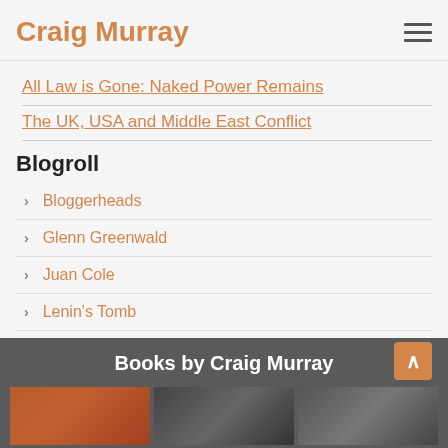Craig Murray
All Law is Gone: Naked Power Remains
The UK, USA and Middle East Conflict
Blogroll
Bloggerheads
Glenn Greenwald
Juan Cole
Lenin's Tomb
Obsolete
Subrosa Blonde
Books by Craig Murray